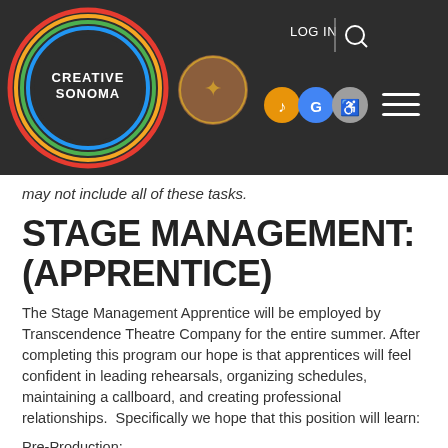[Figure (screenshot): Creative Sonoma website navigation bar with logo, county badge, accessibility icons, login link, search icon, and hamburger menu on dark background]
may not include all of these tasks.
STAGE MANAGEMENT: (APPRENTICE)
The Stage Management Apprentice will be employed by Transcendence Theatre Company for the entire summer. After completing this program our hope is that apprentices will feel confident in leading rehearsals, organizing schedules, maintaining a callboard, and creating professional relationships.  Specifically we hope that this position will learn:
Pre-Production:
how to properly use Dropbox, Google Drive, and all Microsoft tools.